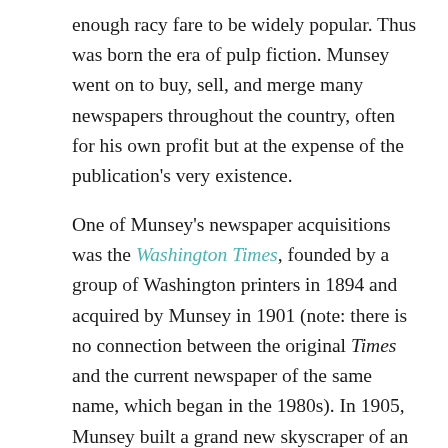enough racy fare to be widely popular. Thus was born the era of pulp fiction. Munsey went on to buy, sell, and merge many newspapers throughout the country, often for his own profit but at the expense of the publication's very existence.
One of Munsey's newspaper acquisitions was the Washington Times, founded by a group of Washington printers in 1894 and acquired by Munsey in 1901 (note: there is no connection between the original Times and the current newspaper of the same name, which began in the 1980s). In 1905, Munsey built a grand new skyscraper of an office building at 1329 E Street, N.W., to house his newspaper. The structures on this block essentially faced Pennsylvania Avenue at the time. The new Munsey Building was just a few doors down from the Richardson-Romanesque Washington Post building and a couple of blocks west of the Evening Star building, so all the important journalists of the early 1900s were